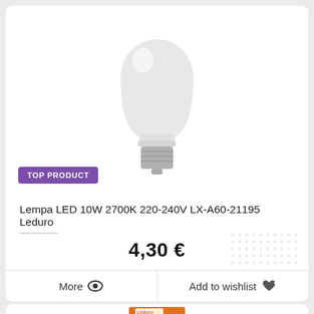[Figure (photo): LED light bulb (A60 shape, frosted white, E27 base) product photo on white background]
TOP PRODUCT
Lempa LED 10W 2700K 220-240V LX-A60-21195 Leduro
4,30 €
More
Add to wishlist
[Figure (photo): LED tube/filament lamp in retail box (Leduro branded, blue packaging) product photo]